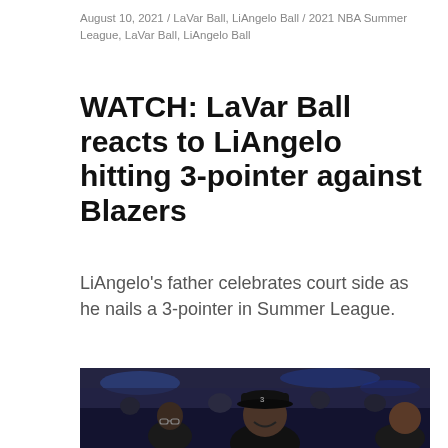August 10, 2021 / LaVar Ball, LiAngelo Ball / 2021 NBA Summer League, LaVar Ball, LiAngelo Ball
WATCH: LaVar Ball reacts to LiAngelo hitting 3-pointer against Blazers
LiAngelo's father celebrates court side as he nails a 3-pointer in Summer League.
[Figure (photo): Photo of LaVar Ball smiling courtside at an NBA arena, wearing a black cap with number 3, surrounded by other people in the stands]